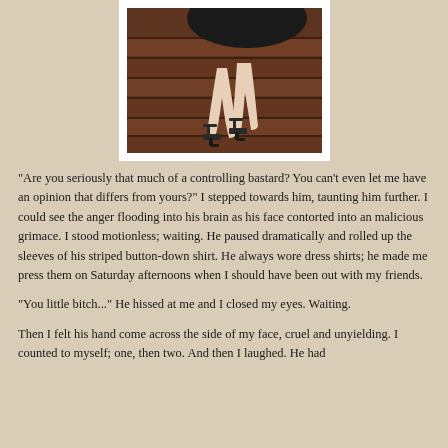[Figure (photo): A woman in a black dress and strappy heeled sandals sitting on wooden steps, legs visible from the knees down.]
"Are you seriously that much of a controlling bastard? You can't even let me have an opinion that differs from yours?" I stepped towards him, taunting him further. I could see the anger flooding into his brain as his face contorted into an malicious grimace. I stood motionless; waiting. He paused dramatically and rolled up the sleeves of his striped button-down shirt. He always wore dress shirts; he made me press them on Saturday afternoons when I should have been out with my friends.
"You little bitch..." He hissed at me and I closed my eyes. Waiting.
Then I felt his hand come across the side of my face, cruel and unyielding. I counted to myself; one, then two. And then I laughed. He had